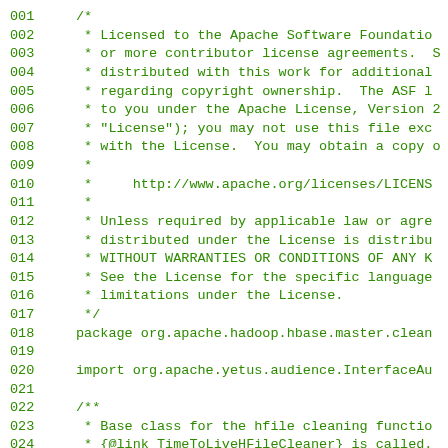001  /*
002   * Licensed to the Apache Software Foundation
003   * or more contributor license agreements.  S
004   * distributed with this work for additional
005   * regarding copyright ownership.  The ASF l
006   * to you under the Apache License, Version 2
007   * "License"); you may not use this file exc
008   * with the License.  You may obtain a copy o
009   *
010   *     http://www.apache.org/licenses/LICENS
011   *
012   * Unless required by applicable law or agre
013   * distributed under the License is distribu
014   * WITHOUT WARRANTIES OR CONDITIONS OF ANY K
015   * See the License for the specific language
016   * limitations under the License.
017   */
018  package org.apache.hadoop.hbase.master.clean
019  
020  import org.apache.yetus.audience.InterfaceAu
021  
022  /**
023   * Base class for the hfile cleaning functio
024   * {@link TimeToLiveHFileCleaner} is called.
025   * <p>
026   * If other effects are needed, implement yo
027   * configuration "hbase.master.hfilecleaner